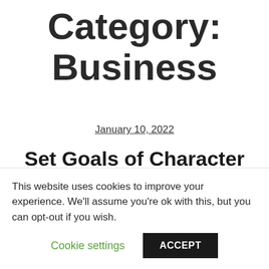Category: Business
January 10, 2022
Set Goals of Character and Ability, not of Achievement and Status
This website uses cookies to improve your experience. We'll assume you're ok with this, but you can opt-out if you wish.
Cookie settings   ACCEPT